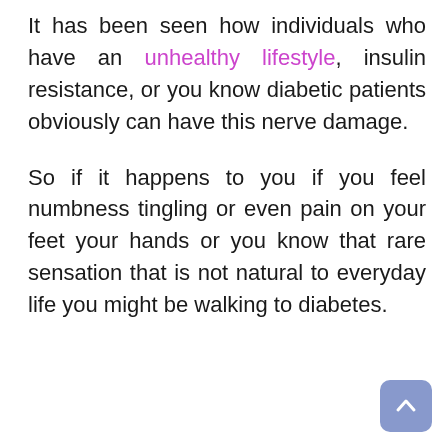It has been seen how individuals who have an unhealthy lifestyle, insulin resistance, or you know diabetic patients obviously can have this nerve damage.
So if it happens to you if you feel numbness tingling or even pain on your feet your hands or you know that rare sensation that is not natural to everyday life you might be walking to diabetes.